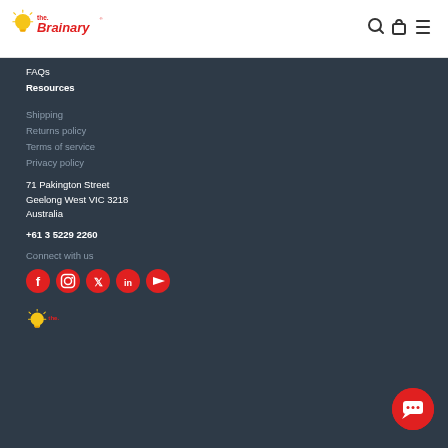[Figure (logo): The Brainary logo with lightbulb icon in yellow/red and red text]
[Figure (other): Navigation bar icons: search, bag, hamburger menu]
FAQs
Resources
Shipping
Returns policy
Terms of service
Privacy policy
71 Pakington Street
Geelong West VIC 3218
Australia
+61 3 5229 2260
Connect with us
[Figure (other): Social media icons: Facebook, Instagram, Twitter, LinkedIn, YouTube — all red circles with white icons]
[Figure (other): Chat button — red circle with white speech bubble icon, bottom right]
[Figure (logo): The Brainary logo partial at bottom left]